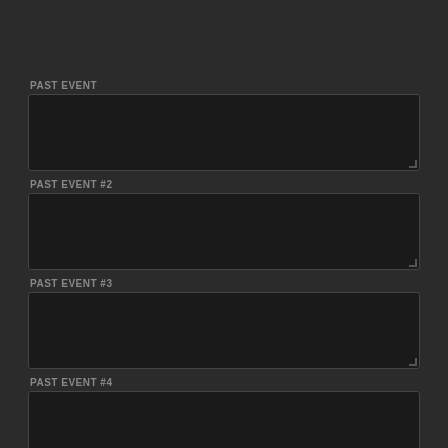PAST EVENT
PAST EVENT #2
PAST EVENT #3
PAST EVENT #4
PAST EVENT #5
PAST EVENT #6